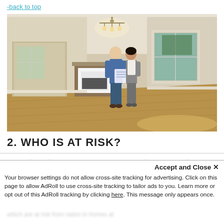-back to top
[Figure (photo): Interior of an empty house with hardwood floors, a chandelier, fireplace, and two people (a man in blue denim and a woman in grey) looking at blueprints/documents together.]
2. WHO IS AT RISK?
Accept and Close ×
Your browser settings do not allow cross-site tracking for advertising. Click on this page to allow AdRoll to use cross-site tracking to tailor ads to you. Learn more or opt out of this AdRoll tracking by clicking here. This message only appears once.